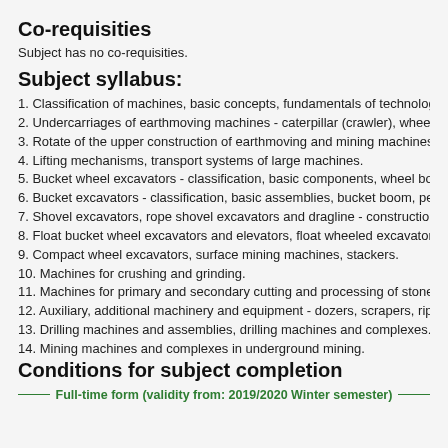Co-requisities
Subject has no co-requisities.
Subject syllabus:
1. Classification of machines, basic concepts, fundamentals of technology, use.
2. Undercarriages of earthmoving machines - caterpillar (crawler), wheeled, rail,
3. Rotate of the upper construction of earthmoving and mining machines - classi
4. Lifting mechanisms, transport systems of large machines.
5. Bucket wheel excavators - classification, basic components, wheel boom tip, p
6. Bucket excavators - classification, basic assemblies, bucket boom, performan
7. Shovel excavators, rope shovel excavators and dragline - construction units, u
8. Float bucket wheel excavators and elevators, float wheeled excavators, sucki
9. Compact wheel excavators, surface mining machines, stackers.
10. Machines for crushing and grinding.
11. Machines for primary and secondary cutting and processing of stone produc
12. Auxiliary, additional machinery and equipment - dozers, scrapers, rippers, sh
13. Drilling machines and assemblies, drilling machines and complexes.
14. Mining machines and complexes in underground mining.
Conditions for subject completion
Full-time form (validity from: 2019/2020 Winter semester)